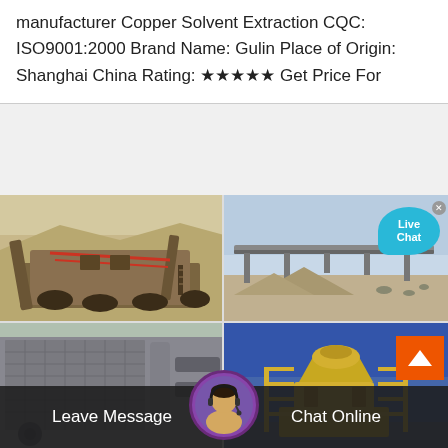manufacturer Copper Solvent Extraction CQC: ISO9001:2000 Brand Name: Gulin Place of Origin: Shanghai China Rating: ★★★★★ Get Price For
[Figure (photo): Four-panel image grid showing mining and crushing equipment: top-left shows open-pit mining machinery on sandy terrain; top-right shows a conveyor belt structure with a Live Chat bubble overlay; bottom-left shows a close-up of industrial machinery panels and pipes; bottom-right shows a yellow cone crusher machine inside a blue warehouse structure. Bottom overlay shows a chat bar with Leave Message, agent avatar, and Chat Online buttons.]